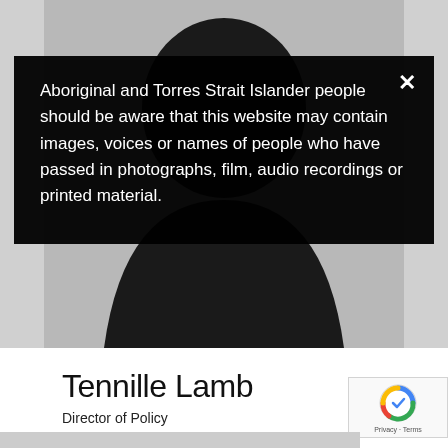[Figure (photo): Grayscale silhouette placeholder image of a person against a grey background]
Aboriginal and Torres Strait Islander people should be aware that this website may contain images, voices or names of people who have passed in photographs, film, audio recordings or printed material.
Tennille Lamb
Director of Policy